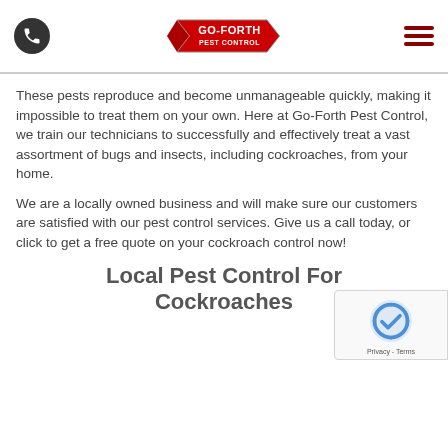Go-Forth Pest Control logo, phone icon, hamburger menu
These pests reproduce and become unmanageable quickly, making it impossible to treat them on your own. Here at Go-Forth Pest Control, we train our technicians to successfully and effectively treat a vast assortment of bugs and insects, including cockroaches, from your home.
We are a locally owned business and will make sure our customers are satisfied with our pest control services. Give us a call today, or click to get a free quote on your cockroach control now!
Local Pest Control For Cockroaches